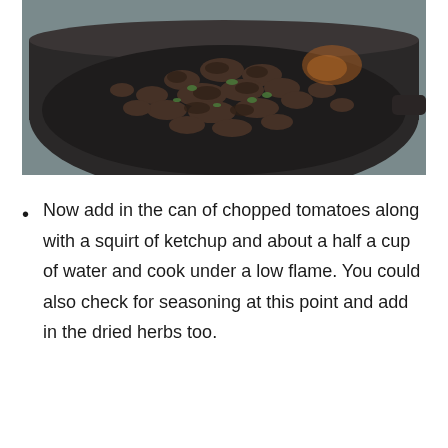[Figure (photo): A dark frying pan or skillet viewed from above, containing browned ground meat with some green vegetable pieces mixed in, cooking on a stovetop.]
Now add in the can of chopped tomatoes along with a squirt of ketchup and about a half a cup of water and cook under a low flame. You could also check for seasoning at this point and add in the dried herbs too.